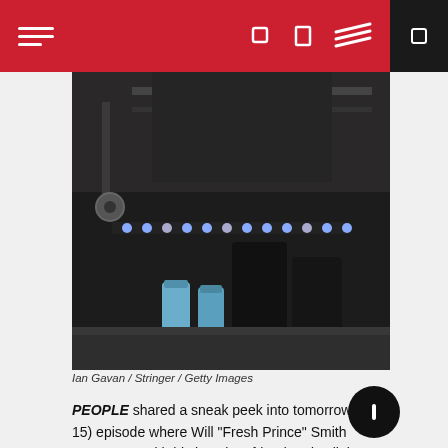PEOPLE magazine mobile app header with hamburger menu and navigation icons
[Figure (photo): Photo showing the lower legs and feet of a person wearing black sneakers (Yeezy-style) on a stage floor with lights. Blue water bottles visible in background. Dark stage/concert setting.]
Ian Gavan / Stringer / Getty Images
PEOPLE shared a sneak peek into tomorrow's (April 15) episode where Will "Fresh Prince" Smith reconnects with his longtime friend and collaborator, Jeffrey "DJ Jazzy Jeff" Townes. At the end of March, Townes revealed that he was suffering from pneumonia-like symptoms. He didn't specifically say he contracted COVID-19, but he's now sharing that he did indeed catch coronaviru
"I came home from my trip. I was like, 'I feel like I'm coming down with something' and got into bed, and I don't remember the next 10 days." Jazzy Jeff told Smith. "I had a